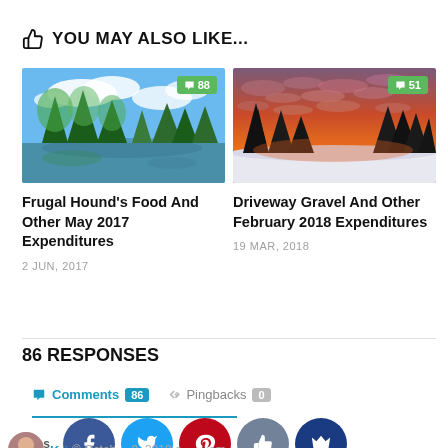YOU MAY ALSO LIKE...
[Figure (photo): Green forest scene with trees reflected in water and blue sky with clouds — blog post thumbnail]
[Figure (photo): Dramatic sunset sky with orange and red clouds over dark tree silhouettes in winter — blog post thumbnail]
Frugal Hound's Food And Other May 2017 Expenditures
2 JUN, 2017
Driveway Gravel And Other February 2018 Expenditures
19 MAR, 2018
86 RESPONSES
Comments 86   Pingbacks 0
Shares
Kri…   © Octob… 9, 2018 a… …am